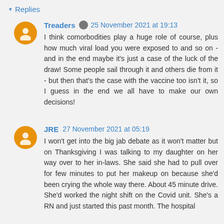▾ Replies
Treaders  25 November 2021 at 19:13
I think comorbodities play a huge role of course, plus how much viral load you were exposed to and so on - and in the end maybe it's just a case of the luck of the draw! Some people sail through it and others die from it - but then that's the case with the vaccine too isn't it, so I guess in the end we all have to make our own decisions!
JRE  27 November 2021 at 05:19
I won't get into the big jab debate as it won't matter but on Thanksgiving I was talking to my daughter on her way over to her in-laws. She said she had to pull over for few minutes to put her makeup on because she'd been crying the whole way there. About 45 minute drive. She'd worked the night shift on the Covid unit. She's a RN and just started this past month. The hospital